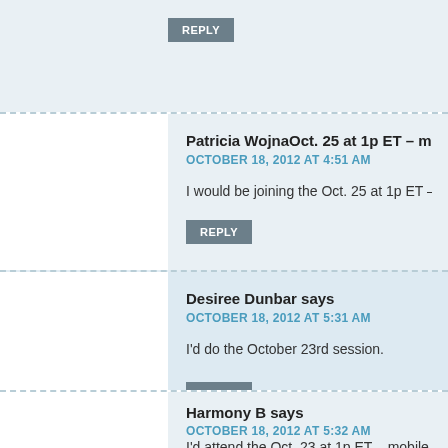REPLY
Patricia WojnaOct. 25 at 1p ET – mobile safety for kids 15-1
OCTOBER 18, 2012 AT 4:51 AM
I would be joining the Oct. 25 at 1p ET – mobile safety for kids
REPLY
Desiree Dunbar says
OCTOBER 18, 2012 AT 5:31 AM
I'd do the October 23rd session.
REPLY
Harmony B says
OCTOBER 18, 2012 AT 5:32 AM
I'd attend the Oct. 23 at 1p ET – mobile safety for kids 8-11